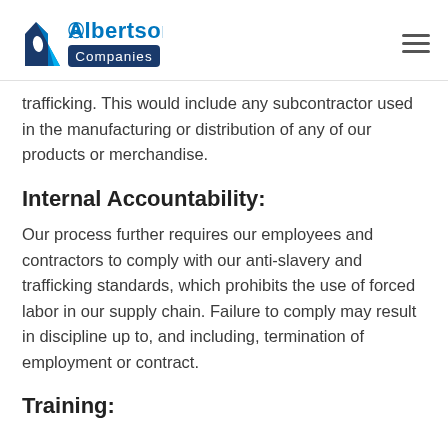Albertsons Companies
trafficking. This would include any subcontractor used in the manufacturing or distribution of any of our products or merchandise.
Internal Accountability:
Our process further requires our employees and contractors to comply with our anti-slavery and trafficking standards, which prohibits the use of forced labor in our supply chain. Failure to comply may result in discipline up to, and including, termination of employment or contract.
Training: